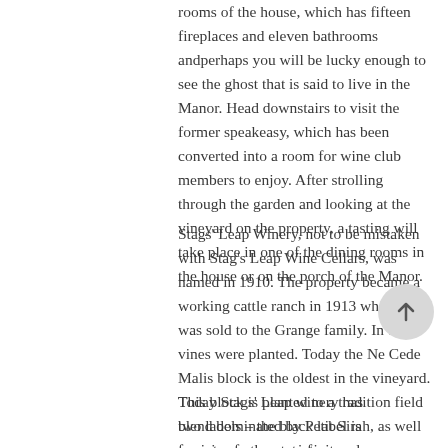rooms of the house, which has fifteen fireplaces and eleven bathrooms andperhaps you will be lucky enough to see the ghost that is said to live in the Manor. Head downstairs to visit the former speakeasy, which has been converted into a room for wine club members to enjoy. After strolling through the garden and looking at the vineyard on the property, a tasting will take place in one of the dining rooms in the house or on the porch of the Manor.
Stags' Leap Winery, not to be mistaken with Stag's Leap Wine Cellars, was named in 1910. The property became a working cattle ranch in 1913 when it was sold to the Grange family. In 1929 vines were planted. Today the Ne Cede Malis block is the oldest in the vineyard. This block is planted to a tradition field blend dominated by Petit Sirah, as well as sixteen other varieties.
Today Stags' Leap winery has two labels – the black label is for wine from estate fruit and the white label